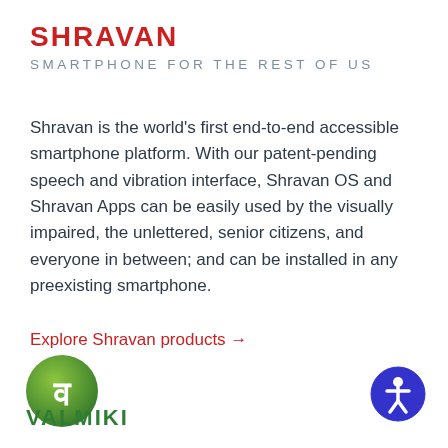SHRAVAN
SMARTPHONE FOR THE REST OF US
Shravan is the world’s first end-to-end accessible smartphone platform. With our patent-pending speech and vibration interface, Shravan OS and Shravan Apps can be easily used by the visually impaired, the unlettered, senior citizens, and everyone in between; and can be installed in any preexisting smartphone.
Explore Shravan products →
[Figure (logo): Green circular logo with white Devanagari letter va (व) inside]
VALMIKI
[Figure (logo): Blue circular accessibility icon with white person figure inside]